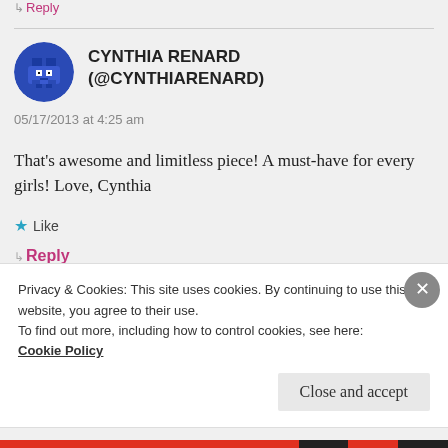↳ Reply
CYNTHIA RENARD (@CYNTHIARENARD)
05/17/2013 at 4:25 am
That's awesome and limitless piece! A must-have for every girls! Love, Cynthia
★ Like
↳ Reply
Privacy & Cookies: This site uses cookies. By continuing to use this website, you agree to their use.
To find out more, including how to control cookies, see here: Cookie Policy
Close and accept